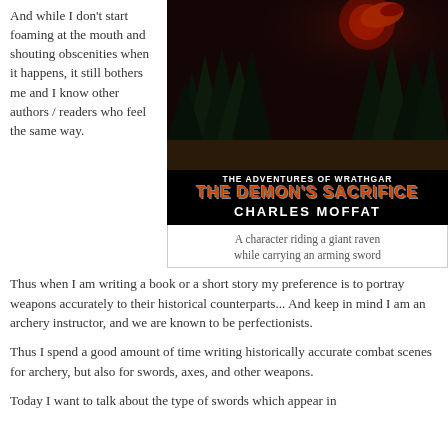And while I don't start foaming at the mouth and shouting obscenities when it happens, it still bothers me and I know other authors / readers who feel the same way.
[Figure (illustration): Book cover for 'The Adventures of Wrathgar: The Demon's Sacrifice' by Charles Moffat, showing a fantasy scene with trees, a dark sky with a large moon, and decorative elements. The cover has bold title text in orange/red and white on a black background.]
A character riding a giant raven while carrying an arming sword
Thus when I am writing a book or a short story my preference is to portray weapons accurately to their historical counterparts... And keep in mind I am an archery instructor, and we are known to be perfectionists.
Thus I spend a good amount of time writing historically accurate combat scenes for archery, but also for swords, axes, and other weapons.
Today I want to talk about the type of swords which appear in